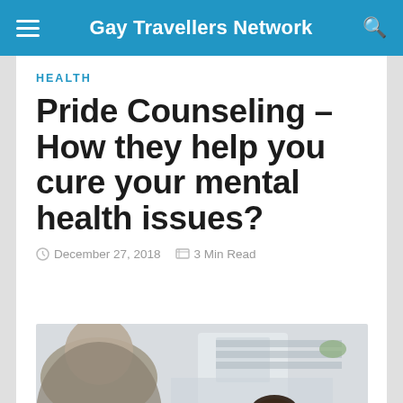Gay Travellers Network
HEALTH
Pride Counseling – How they help you cure your mental health issues?
December 27, 2018   3 Min Read
[Figure (photo): A person in distress with head down, seen in a counseling or therapy setting, another figure blurred in foreground.]